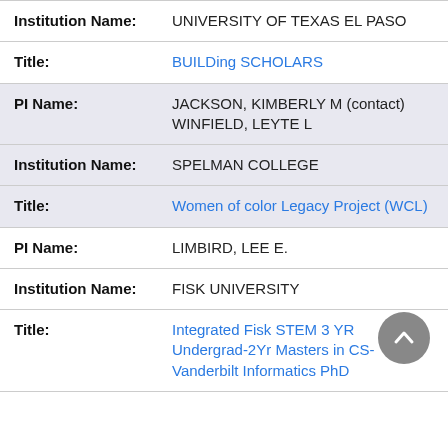| Field | Value |
| --- | --- |
| Institution Name: | UNIVERSITY OF TEXAS EL PASO |
| Title: | BUILDing SCHOLARS |
| PI Name: | JACKSON, KIMBERLY M (contact)
WINFIELD, LEYTE L |
| Institution Name: | SPELMAN COLLEGE |
| Title: | Women of color Legacy Project (WCL) |
| PI Name: | LIMBIRD, LEE E. |
| Institution Name: | FISK UNIVERSITY |
| Title: | Integrated Fisk STEM 3 YR Undergrad-2Yr Masters in CS-Vanderbilt Informatics PhD |